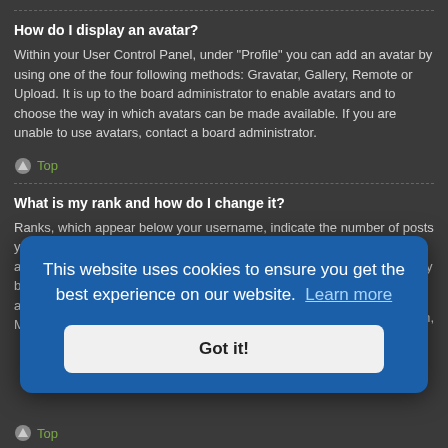How do I display an avatar?
Within your User Control Panel, under "Profile" you can add an avatar by using one of the four following methods: Gravatar, Gallery, Remote or Upload. It is up to the board administrator to enable avatars and to choose the way in which avatars can be made available. If you are unable to use avatars, contact a board administrator.
Top
What is my rank and how do I change it?
Ranks, which appear below your username, indicate the number of posts you have made or identify certain users, e.g. moderators and administrators. In general, you cannot directly change the wording of any board ranks as they are set by the board administrator. Please do not abuse the board by posting unnecessarily just to increase your rank. Most boards will not tolerate this and
[Figure (screenshot): Cookie consent banner overlay with blue background, reading: 'This website uses cookies to ensure you get the best experience on our website. Learn more' with a 'Got it!' button]
Top